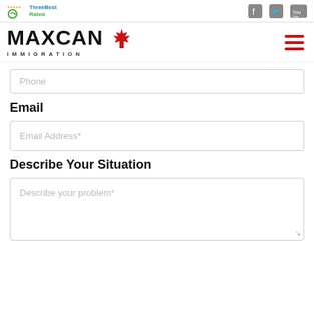ThreeBest Rated | Maxcan Immigration
[Figure (logo): Maxcan Immigration logo with maple leaf and hamburger menu icon]
Phone
Email
Email Address*
Describe Your Situation
Describe your problem*